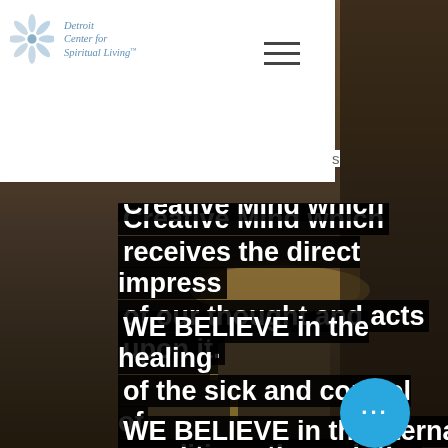[Figure (photo): Background photo of a road/highway with a car, dark sepia-toned]
Detroit Center for Spiritual Living
Creative Mind which receives the direct impress of our thought and acts upon it.
WE BELIEVE in the healing of the sick and control of conditions through the power of this Mind.
WE BELIEVE in the eterna